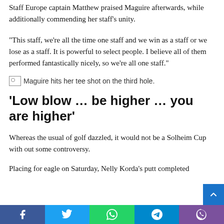Staff Europe captain Matthew praised Maguire afterwards, while additionally commending her staff's unity.
“This staff, we’re all the time one staff and we win as a staff or we lose as a staff. It is powerful to select people. I believe all of them performed fantastically nicely, so we’re all one staff.”
[Figure (photo): Broken image placeholder with alt text: Maguire hits her tee shot on the third hole.]
‘Low blow … be higher … you are higher’
Whereas the usual of golf dazzled, it would not be a Solheim Cup with out some controversy.
Placing for eagle on Saturday, Nelly Korda’s putt completed
Facebook | Twitter | WhatsApp | Telegram | Viber